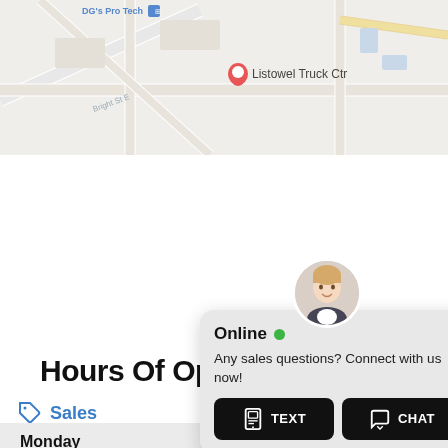[Figure (map): Google Maps screenshot showing streets near Listowel Truck Ctr with a location pin marker and 'DG's Pro Tech' label visible. Streets include Bright St E. Map has light grey/white road network styling.]
Hours Of Operation
Sales
| Day | Hours |
| --- | --- |
| Monday | 7:00PM |
| Tuesday | 7:00PM |
[Figure (screenshot): Chat widget popup showing a female avatar, 'Online' status with green dot, message 'Any sales questions? Connect with us now!' and two buttons: TEXT and CHAT.]